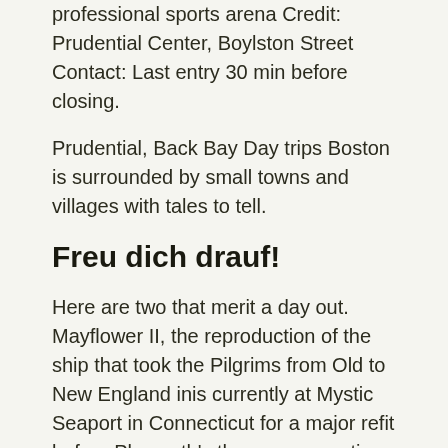professional sports arena Credit: Prudential Center, Boylston Street Contact: Last entry 30 min before closing.
Prudential, Back Bay Day trips Boston is surrounded by small towns and villages with tales to tell.
Freu dich drauf!
Here are two that merit a day out. Mayflower II, the reproduction of the ship that took the Pilgrims from Old to New England inis currently at Mystic Seaport in Connecticut for a major refit before Plymouth's th commemoration of the Pilgrims'; arrival on New England's shores.
She returns to Plymouth in Art of The Print: American Artist Index: This page contains a listing original works of art created by American artists or art with an American